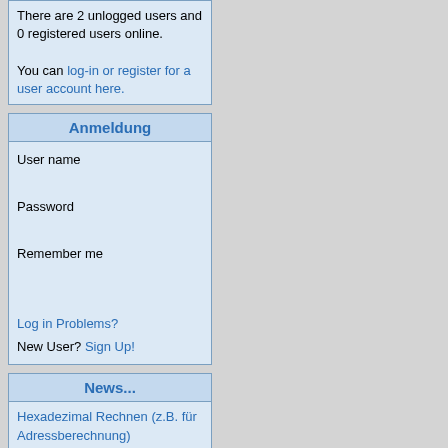There are 2 unlogged users and 0 registered users online.

You can log-in or register for a user account here.
Anmeldung
User name
Password
Remember me
Log in Problems?
New User? Sign Up!
News...
Hexadezimal Rechnen (z.B. für Adressberechnung)
Kurzüberblick von-Neumann Architektur
(Kurzversion) Was ist Fragmentierung?
Was ist Fragmentierung und wie kann man sie vermeiden?
Viewing...
This album contains photos from the field trip to Cape Canaveral for the 120 launch. Photos will also include night launch photos (expected early morning 10/23/07), primarily taken from Jetty Park.
Created on...
This album contains...
This album was last updated on 09/19/07.
Sub-albums
[Figure (photo): Thumbnail image 1]
[Figure (photo): Thumbnail image 2]
Vacation...
Created on...
This album contains...
This album was last updated on 11/05/07.
Sub-albums
[Figure (photo): Thumbnail image 3]
[Figure (photo): Thumbnail image 4]